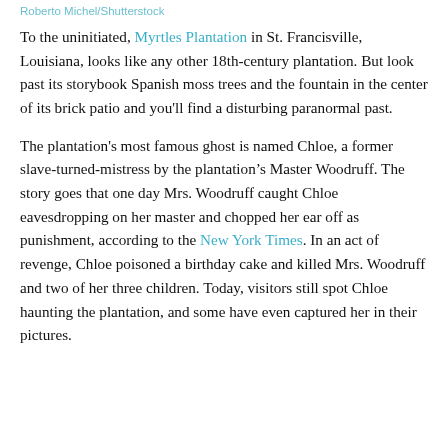Roberto Michel/Shutterstock
To the uninitiated, Myrtles Plantation in St. Francisville, Louisiana, looks like any other 18th-century plantation. But look past its storybook Spanish moss trees and the fountain in the center of its brick patio and you'll find a disturbing paranormal past.
The plantation's most famous ghost is named Chloe, a former slave-turned-mistress by the plantation’s Master Woodruff. The story goes that one day Mrs. Woodruff caught Chloe eavesdropping on her master and chopped her ear off as punishment, according to the New York Times. In an act of revenge, Chloe poisoned a birthday cake and killed Mrs. Woodruff and two of her three children. Today, visitors still spot Chloe haunting the plantation, and some have even captured her in their pictures.